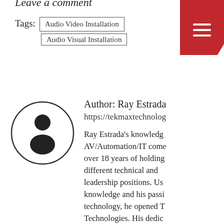Leave a comment
Tags: Audio Video Installation  Audio Visual Installation
[Figure (illustration): Circular avatar icon with a person/user silhouette outline]
Author: Ray Estrada
https://tekmaxtechnolog
Ray Estrada's knowledg AV/Automation/IT come over 18 years of holding different technical and leadership positions. Us knowledge and his passi technology, he opened T Technologies. His dedic and persistence for exce customer service and res of difficult technical pro have helped solidify Tek Technologies as a top-ra AV/Automation/IT...